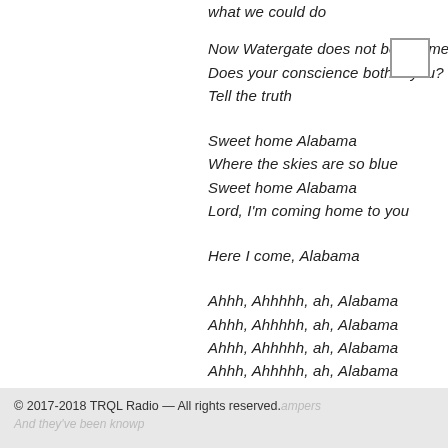what we could do
Now Watergate does not bother me
Does your conscience bother you?
Tell the truth
Sweet home Alabama
Where the skies are so blue
Sweet home Alabama
Lord, I'm coming home to you
Here I come, Alabama
Ahhh, Ahhhhh, ah, Alabama
Ahhh, Ahhhhh, ah, Alabama
Ahhh, Ahhhhh, ah, Alabama
Ahhh, Ahhhhh, ah, Alabama
© 2017-2018 TRQL Radio — All rights reserved.